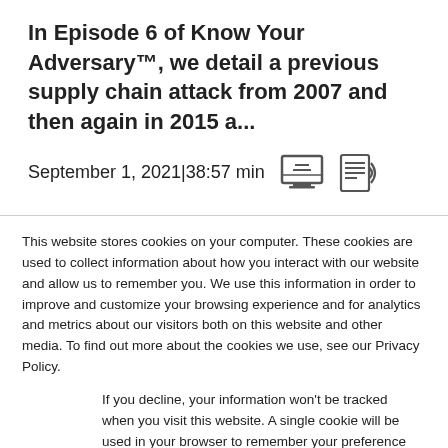In Episode 6 of Know Your Adversary™, we detail a previous supply chain attack from 2007 and then again in 2015 a...
September 1, 2021|38:57 min
This website stores cookies on your computer. These cookies are used to collect information about how you interact with our website and allow us to remember you. We use this information in order to improve and customize your browsing experience and for analytics and metrics about our visitors both on this website and other media. To find out more about the cookies we use, see our Privacy Policy.
If you decline, your information won't be tracked when you visit this website. A single cookie will be used in your browser to remember your preference not to be tracked.
Accept
Decline